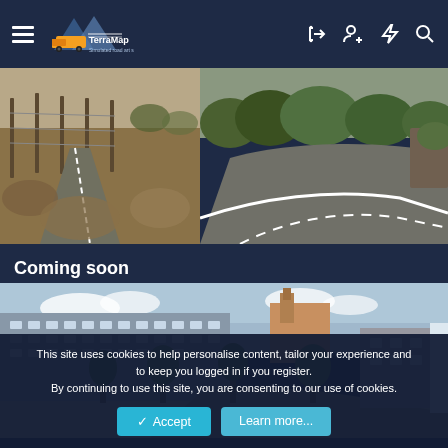TerraMaps navigation bar with hamburger menu, logo, and icons
[Figure (photo): Two side-by-side road/landscape screenshots from a truck simulator game. Left: dusty roadside with fence and dry vegetation. Right: curved asphalt road with trees and bushes.]
Coming soon
[Figure (photo): Screenshot from a truck simulator game showing a city street with modern multi-story buildings, trees, and a road curving to the right. Sky visible in background.]
This site uses cookies to help personalise content, tailor your experience and to keep you logged in if you register.
By continuing to use this site, you are consenting to our use of cookies.
✓ Accept   Learn more...